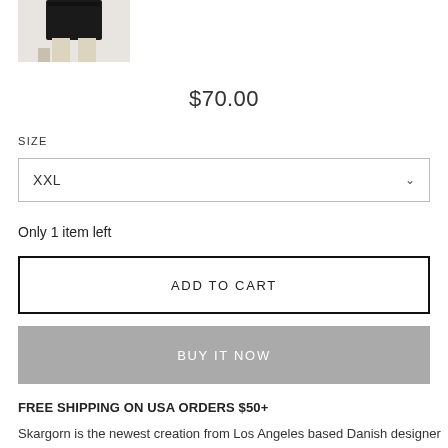[Figure (photo): Product photo showing a person wearing a black top with beige pants]
$70.00
SIZE
XXL
Only 1 item left
ADD TO CART
BUY IT NOW
FREE SHIPPING ON USA ORDERS $50+
Skargorn is the newest creation from Los Angeles based Danish designer